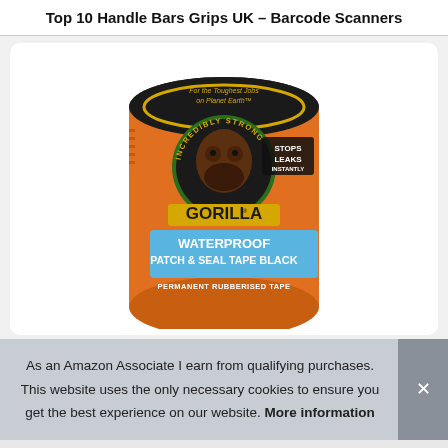Top 10 Handle Bars Grips UK – Barcode Scanners
[Figure (photo): Gorilla Waterproof Patch & Seal Tape Black product image – an orange cylindrical roll of tape with black top, featuring a gorilla logo and text: 'Incredibly Strong', 'For the Toughest Jobs on Planet Earth', 'STOPS LEAKS INSTANTLY', 'WATERPROOF PATCH & SEAL TAPE BLACK', 'PERMANENT RUBBERISED TAPE']
As an Amazon Associate I earn from qualifying purchases. This website uses the only necessary cookies to ensure you get the best experience on our website. More information